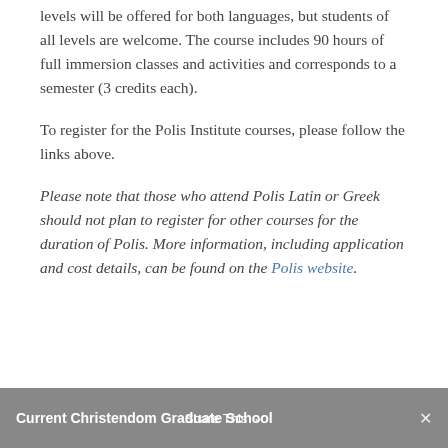levels will be offered for both languages, but students of all levels are welcome. The course includes 90 hours of full immersion classes and activities and corresponds to a semester (3 credits each).
To register for the Polis Institute courses, please follow the links above.
Please note that those who attend Polis Latin or Greek should not plan to register for other courses for the duration of Polis. More information, including application and cost details, can be found on the Polis website.
Current Christendom Graduate School